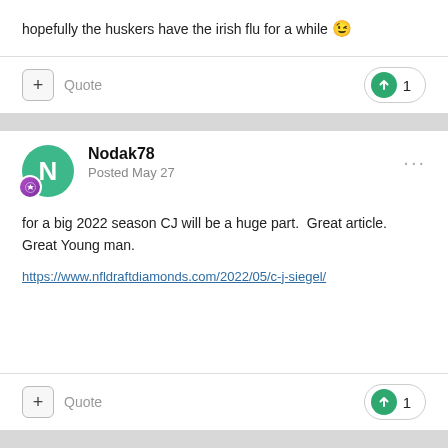hopefully the huskers have the irish flu for a while 😉
+ Quote  ↑ 1
Nodak78
Posted May 27
for a big 2022 season CJ will be a huge part.  Great article.  Great Young man.
https://www.nfldraftdiamonds.com/2022/05/c-j-siegel/
+ Quote  ↑ 1